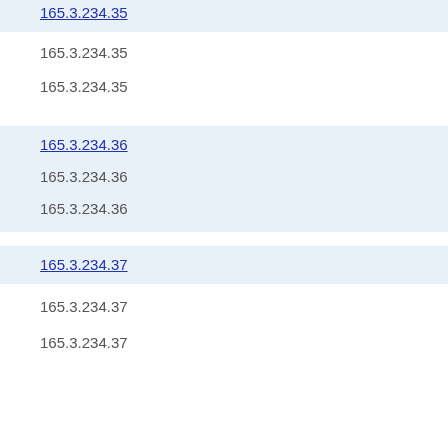165.3.234.35 (link)
165.3.234.35
165.3.234.35
165.3.234.36 (link)
165.3.234.36
165.3.234.36
165.3.234.37 (link)
165.3.234.37
165.3.234.37